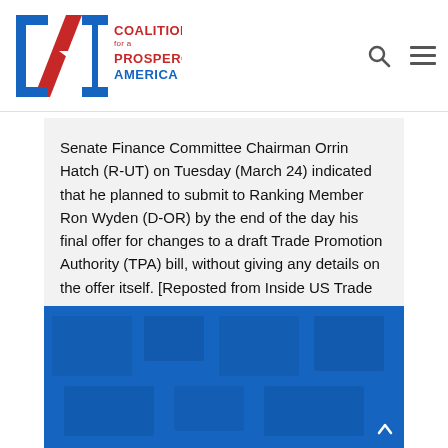CPA Coalition for a Prosperous America
Senate Finance Committee Chairman Orrin Hatch (R-UT) on Tuesday (March 24) indicated that he planned to submit to Ranking Member Ron Wyden (D-OR) by the end of the day his final offer for changes to a draft Trade Promotion Authority (TPA) bill, without giving any details on the offer itself. [Reposted from Inside US Trade ...
[Figure (photo): Blue image block, likely a banner or decorative photo with dark blue background and subtle darker panel overlays, representing a CPA website section.]